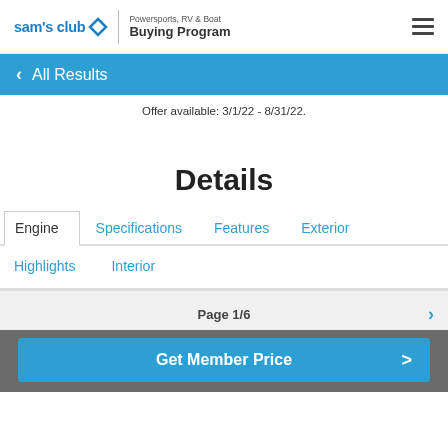sam's club — Powersports, RV & Boat Buying Program
< All Results
Offer available: 3/1/22 - 8/31/22.
Details
Engine | Specifications | Features | Exterior | Highlights | Interior
Page 1/6
Get Member Price >